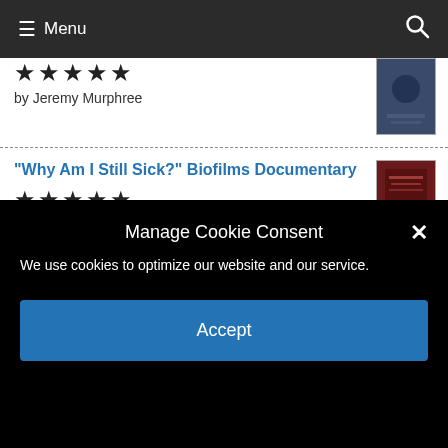Menu
by Jeremy Murphree
"Why Am I Still Sick?" Biofilms Documentary
★★★★★ by Jeremy Murphree
Morgellons: The legitimization of a disease: A Factual Guide by the World's Leading
Manage Cookie Consent
We use cookies to optimize our website and our service.
Accept